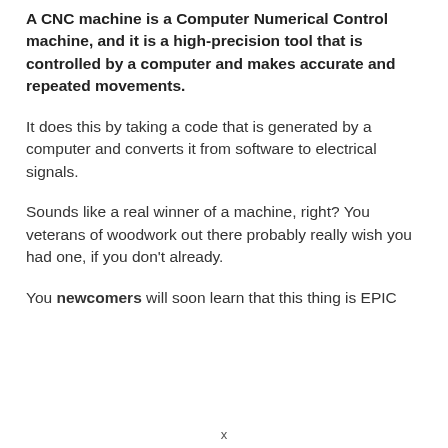A CNC machine is a Computer Numerical Control machine, and it is a high-precision tool that is controlled by a computer and makes accurate and repeated movements.
It does this by taking a code that is generated by a computer and converts it from software to electrical signals.
Sounds like a real winner of a machine, right? You veterans of woodwork out there probably really wish you had one, if you don't already.
You newcomers will soon learn that this thing is EPIC